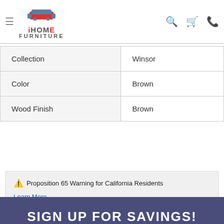iHOME FURNITURE
| Collection | Winsor |
| Color | Brown |
| Wood Finish | Brown |
⚠ Proposition 65 Warning for California Residents
Learn More
SIGN UP FOR SAVINGS!